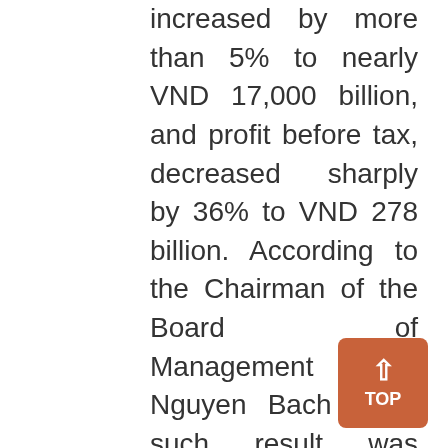increased by more than 5% to nearly VND 17,000 billion, and profit before tax, decreased sharply by 36% to VND 278 billion. According to the Chairman of the Board of Management Ms. Nguyen Bach Diep, such result was because at the end of last year, the Company made provision for bad debts for 2 programs, F.Friend and Subsidy for loyal customers, and also handled the accessories inventories, promoted the investment for Long Chau pharmacy and information technology system.